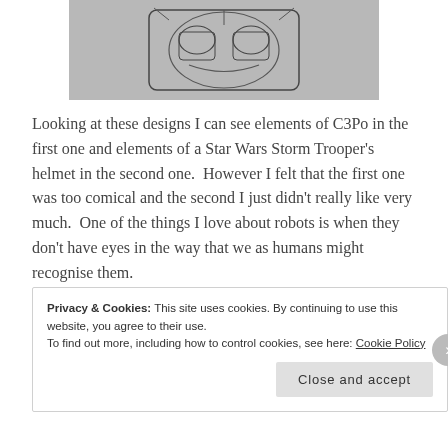[Figure (illustration): A pencil sketch drawing of what appears to be a robot or helmet design, drawn on grey paper. The sketch shows geometric shapes suggesting a face/helmet structure.]
Looking at these designs I can see elements of C3Po in the first one and elements of a Star Wars Storm Trooper's helmet in the second one.  However I felt that the first one was too comical and the second I just didn't really like very much.  One of the things I love about robots is when they don't have eyes in the way that we as humans might recognise them.
Privacy & Cookies: This site uses cookies. By continuing to use this website, you agree to their use.
To find out more, including how to control cookies, see here: Cookie Policy